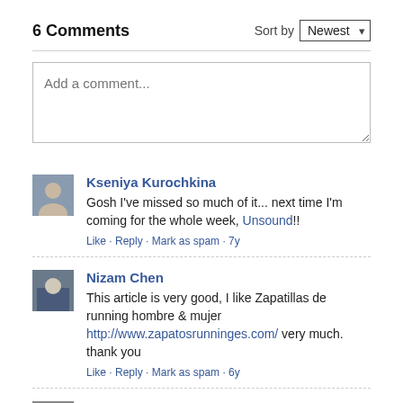6 Comments
Sort by Newest
Add a comment...
Kseniya Kurochkina
Gosh I've missed so much of it... next time I'm coming for the whole week, Unsound!!
Like · Reply · Mark as spam · 7y
Nizam Chen
This article is very good, I like Zapatillas de running hombre & mujer http://www.zapatosrunninges.com/ very much. thank you
Like · Reply · Mark as spam · 6y
Nizam Chen